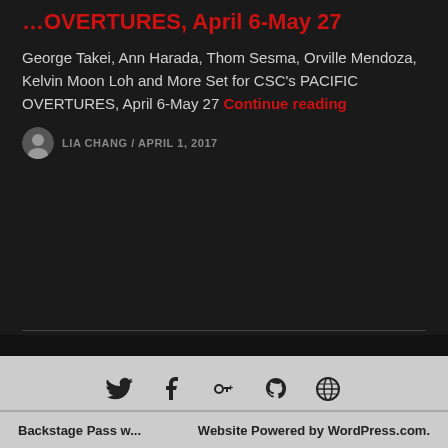George Takei, Ann Harada, Thom Sesma, Orville Mendoza, Kelvin Moon Loh and More Set for CSC's PACIFIC OVERTURES, April 6-May 27
George Takei, Ann Harada, Thom Sesma, Orville Mendoza, Kelvin Moon Loh and More Set for CSC's PACIFIC OVERTURES, April 6-May 27 Continue reading
LIA CHANG / APRIL 1, 2017
[Figure (other): Three dots navigation button in a circle]
Twitter Facebook Google+ GitHub WordPress icons
Backstage Pass w... | Website Powered by WordPress.com.